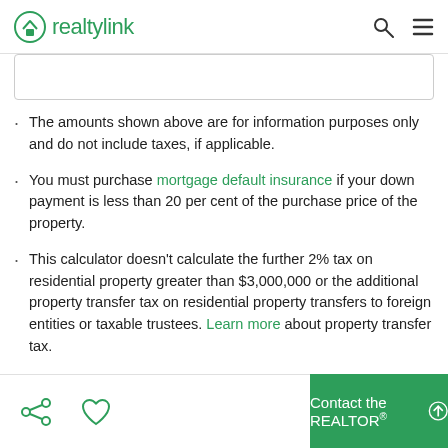realtylink
The amounts shown above are for information purposes only and do not include taxes, if applicable.
You must purchase mortgage default insurance if your down payment is less than 20 per cent of the purchase price of the property.
This calculator doesn't calculate the further 2% tax on residential property greater than $3,000,000 or the additional property transfer tax on residential property transfers to foreign entities or taxable trustees. Learn more about property transfer tax.
There are additional costs to buying a home. Speak
Contact the REALTOR®